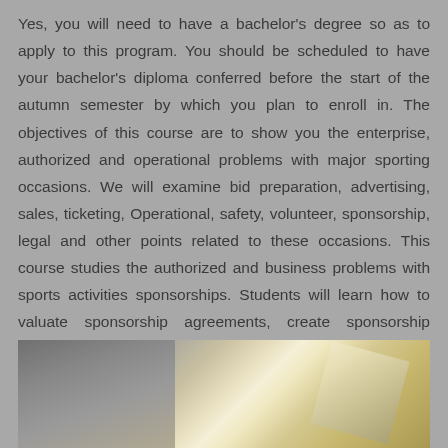Yes, you will need to have a bachelor's degree so as to apply to this program. You should be scheduled to have your bachelor's diploma conferred before the start of the autumn semester by which you plan to enroll in. The objectives of this course are to show you the enterprise, authorized and operational problems with major sporting occasions. We will examine bid preparation, advertising, sales, ticketing, Operational, safety, volunteer, sponsorship, legal and other points related to these occasions. This course studies the authorized and business problems with sports activities sponsorships. Students will learn how to valuate sponsorship agreements, create sponsorship pitches and success stories.
[Figure (photo): A partially visible photograph showing blurred figures or shapes with warm golden/yellow tones on the right side and darker grey tones on the left side.]